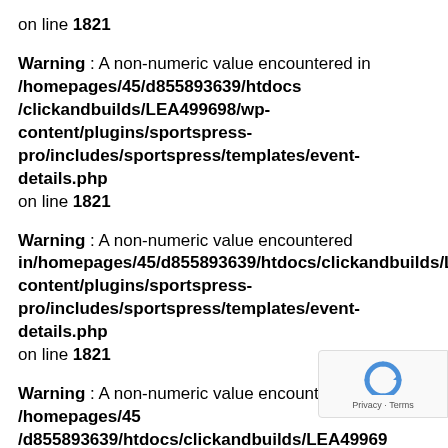on line 1821
Warning : A non-numeric value encountered in /homepages/45/d855893639/htdocs/clickandbuilds/LEA499698/wp-content/plugins/sportspress-pro/includes/sportspress/templates/event-details.php on line 1821
Warning : A non-numeric value encountered in/homepages/45/d855893639/htdocs/clickandbuilds/LEA499698/wp-content/plugins/sportspress-pro/includes/sportspress/templates/event-details.php on line 1821
Warning : A non-numeric value encountered in /homepages/45 /d855893639/htdocs/clickandbuilds/LEA49969... /content/plugins/sportspress-